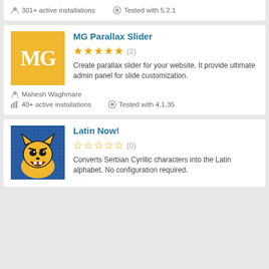301+ active installations  Tested with 5.2.1
[Figure (logo): MG Parallax Slider plugin icon - yellow background with white MG letters]
MG Parallax Slider
★★★★★ (2)
Create parallax slider for your website. It provide ultimate admin panel for slide customization.
Mahesh Waghmare
40+ active installations  Tested with 4.1.35
[Figure (illustration): Latin Now! plugin icon - blue halftone background with yellow cartoon angry cat]
Latin Now!
☆☆☆☆☆ (0)
Converts Serbian Cyrillic characters into the Latin alphabet. No configuration required.